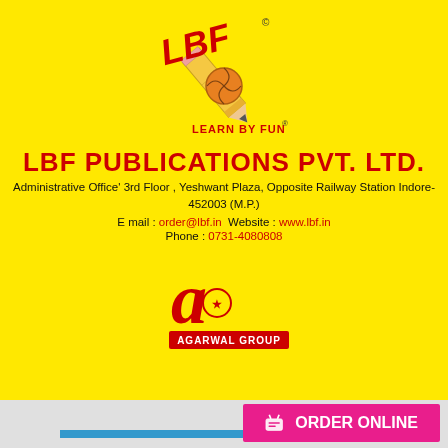[Figure (logo): LBF Learn By Fun logo with pencil and basketball graphic]
LBF PUBLICATIONS PVT. LTD.
Administrative Office' 3rd Floor , Yeshwant Plaza, Opposite Railway Station Indore-452003 (M.P.)
E mail : order@lbf.in Website : www.lbf.in
Phone : 0731-4080808
[Figure (logo): Agarwal Group logo with stylized 'a' and text AGARWAL GROUP]
ORDER ONLINE